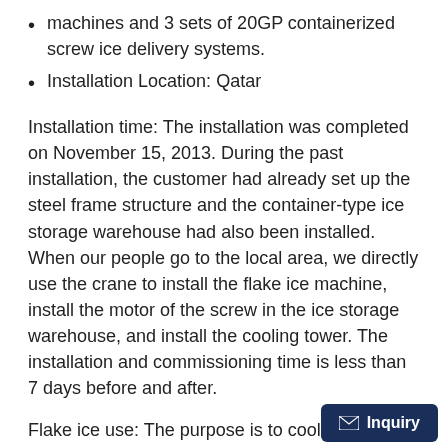machines and 3 sets of 20GP containerized screw ice delivery systems.
Installation Location: Qatar
Installation time: The installation was completed on November 15, 2013. During the past installation, the customer had already set up the steel frame structure and the container-type ice storage warehouse had also been installed. When our people go to the local area, we directly use the crane to install the flake ice machine, install the motor of the screw in the ice storage warehouse, and install the cooling tower. The installation and commissioning time is less than 7 days before and after.
Flake ice use: The purpose is to cool down ready-mixed concrete (ready-mixed concrete refers to cement, aggregates, water, and admixtures, mineral additions, and other components added as needed in a certain